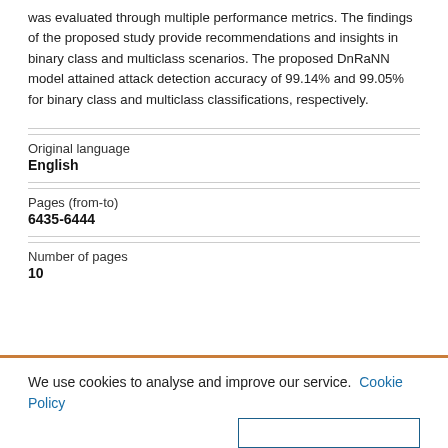was evaluated through multiple performance metrics. The findings of the proposed study provide recommendations and insights in binary class and multiclass scenarios. The proposed DnRaNN model attained attack detection accuracy of 99.14% and 99.05% for binary class and multiclass classifications, respectively.
| Original language |  |
| English |  |
| Pages (from-to) |  |
| 6435-6444 |  |
| Number of pages |  |
| 10 |  |
We use cookies to analyse and improve our service. Cookie Policy